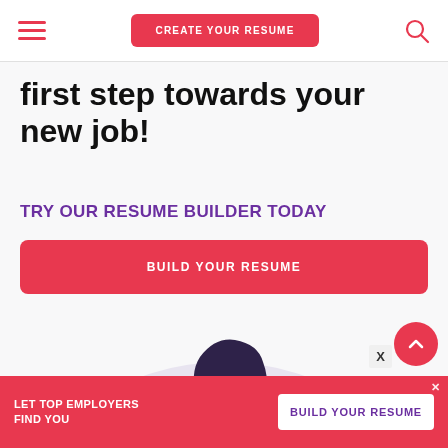[Figure (screenshot): Navigation bar with hamburger menu, CREATE YOUR RESUME button, and search icon]
first step towards your new job!
TRY OUR RESUME BUILDER TODAY
[Figure (illustration): Red button labeled BUILD YOUR RESUME]
[Figure (illustration): Illustration of a woman with dark hair wearing an orange/red top, with a light purple semicircle background]
LET TOP EMPLOYERS FIND YOU
BUILD YOUR RESUME